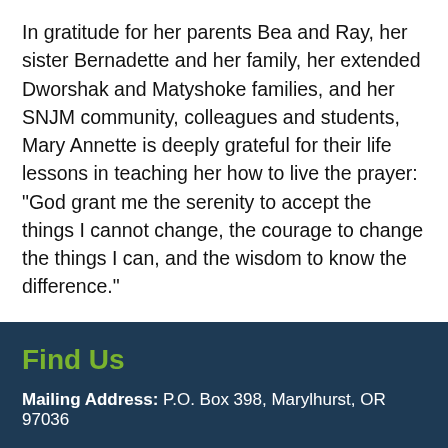In gratitude for her parents Bea and Ray, her sister Bernadette and her family, her extended Dworshak and Matyshoke families, and her SNJM community, colleagues and students, Mary Annette is deeply grateful for their life lessons in teaching her how to live the prayer: “God grant me the serenity to accept the things I cannot change, the courage to change the things I can, and the wisdom to know the difference.”
Find Us
Mailing Address: P.O. Box 398, Marylhurst, OR 97036